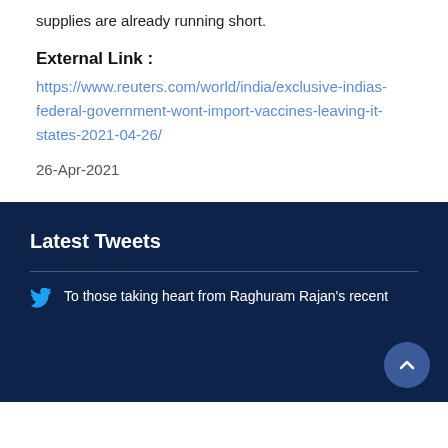supplies are already running short.
External Link :
https://www.reuters.com/world/india/exclusive-indias-federal-government-wont-import-vaccines-leaving-it-states-2021-04-26/
26-Apr-2021
Latest Tweets
To those taking heart from Raghuram Rajan's recent